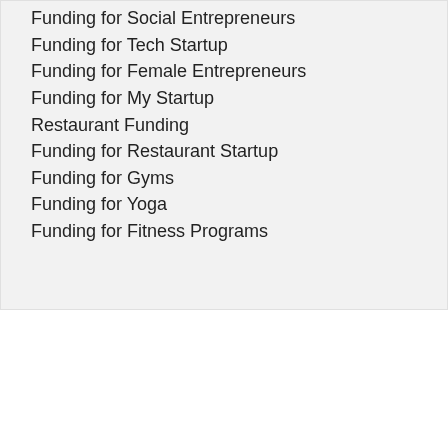Funding for Social Entrepreneurs
Funding for Tech Startup
Funding for Female Entrepreneurs
Funding for My Startup
Restaurant Funding
Funding for Restaurant Startup
Funding for Gyms
Funding for Yoga
Funding for Fitness Programs
Powered by SoFlo Funding - Lines of Credit and